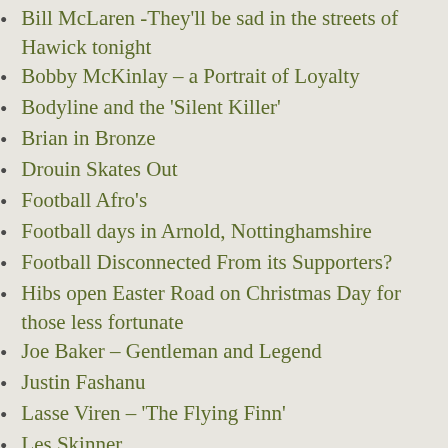Bill McLaren -They'll be sad in the streets of Hawick tonight
Bobby McKinlay – a Portrait of Loyalty
Bodyline and the 'Silent Killer'
Brian in Bronze
Drouin Skates Out
Football Afro's
Football days in Arnold, Nottinghamshire
Football Disconnected From its Supporters?
Hibs open Easter Road on Christmas Day for those less fortunate
Joe Baker – Gentleman and Legend
Justin Fashanu
Lasse Viren – 'The Flying Finn'
Les Skinner
Lowdham Festival (1) The Brian Clough